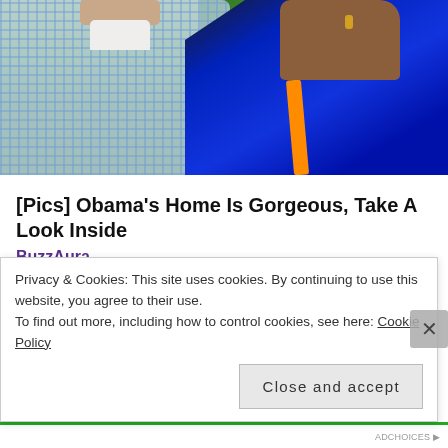[Figure (photo): Two people outdoors — a man in a light blue checkered shirt on the left and a woman in a bright blue top on the right, with green trees and garden in the background.]
[Pics] Obama's Home Is Gorgeous, Take A Look Inside
BuzzAura
CATEGORIES  RUNNING AND FITNESS
TAGS  BADASS MOTHER RUNNER, FLAT RUNNER, FLATRUNNER, FLIPBELT, GARMIN, GARMIN FORERUNNER 220, MOTHERRUNNER, NUUNBASSADOR, PRO COMPRESSION, PROCOMPRESSION, ROAD ID,
Privacy & Cookies: This site uses cookies. By continuing to use this website, you agree to their use.
To find out more, including how to control cookies, see here: Cookie Policy
Close and accept